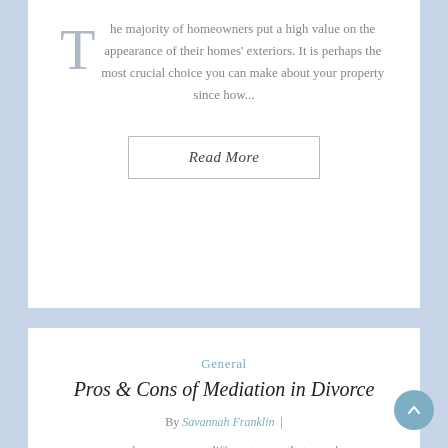The majority of homeowners put a high value on the appearance of their homes' exteriors. It is perhaps the most crucial choice you can make about your property since how...
Read More
General
Pros & Cons of Mediation in Divorce
By Savannah Franklin |
There are many different ways that couples